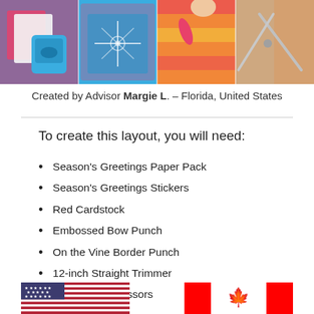[Figure (photo): Four-panel photo strip showing crafting supplies: card with bow punch, blue embossing punch, decorative scissors cutting patterned paper, and scissors on floral fabric]
Created by Advisor Margie L. – Florida, United States
To create this layout, you will need:
Season's Greetings Paper Pack
Season's Greetings Stickers
Red Cardstock
Embossed Bow Punch
On the Vine Border Punch
12-inch Straight Trimmer
All-Purpose Scissors
Tape Runner
[Figure (illustration): US flag (left) and Canadian flag (right) shown at the bottom of the page]